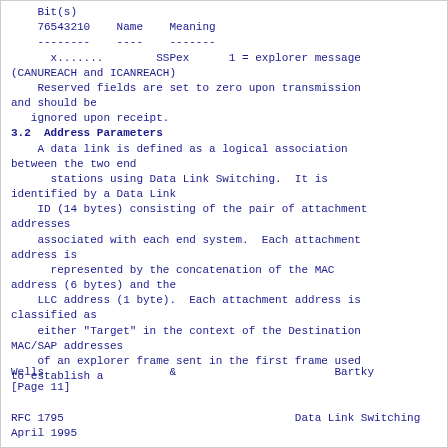Bit(s)
76543210    Name    Meaning
--------    ----    -------
  x.......        SSPex      1 = explorer message
(CANUREACH and ICANREACH)
    Reserved fields are set to zero upon transmission
and should be
   ignored upon receipt.
3.2  Address Parameters
A data link is defined as a logical association
between the two end
      stations using Data Link Switching.  It is
identified by a Data Link
    ID (14 bytes) consisting of the pair of attachment
addresses
    associated with each end system.  Each attachment
address is
      represented by the concatenation of the MAC
address (6 bytes) and the
    LLC address (1 byte).  Each attachment address is
classified as
    either "Target" in the context of the Destination
MAC/SAP addresses
    of an explorer frame sent in the first frame used
to establish a
Wells                   &                        Bartky
[Page 11]

RFC 1795                                   Data Link Switching
April 1995